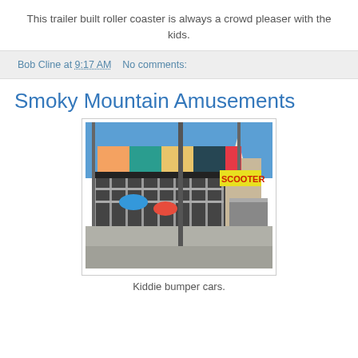This trailer built roller coaster is always a crowd pleaser with the kids.
Bob Cline at 9:17 AM   No comments:
Smoky Mountain Amusements
[Figure (photo): Outdoor amusement ride — bumper cars (Scooter) with colorful canopy top, metal railings, ramp entrance, set in a parking lot with a blue sky and a white steepled building in the background.]
Kiddie bumper cars.